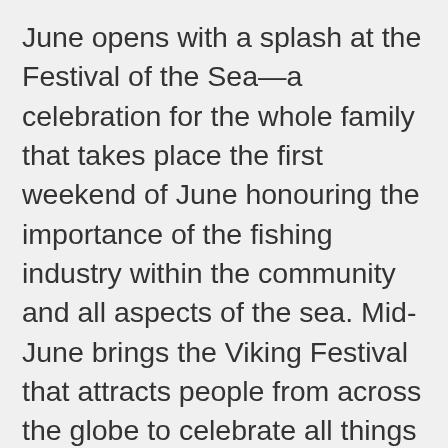June opens with a splash at the Festival of the Sea—a celebration for the whole family that takes place the first weekend of June honouring the importance of the fishing industry within the community and all aspects of the sea. Mid-June brings the Viking Festival that attracts people from across the globe to celebrate all things Viking culture, including cuisine, handcrafted wares and battle demonstrations. June 17 celebrates Iceland's national independence and the festivities include a parade, outdoor concerts, ice cream & hot dogs and kids with balloons. The summer solstice brings, among other things, pagan celebrations and the midnight sun, a sort of festival…